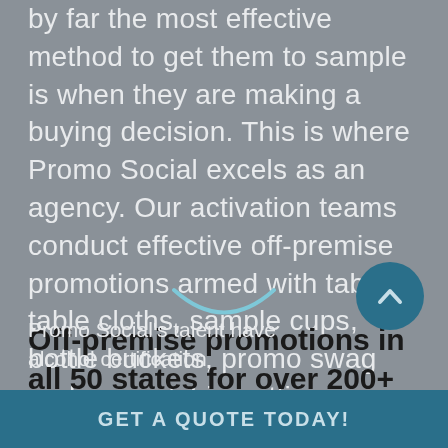by far the most effective method to get them to sample is when they are making a buying decision. This is where Promo Social excels as an agency. Our activation teams conduct effective off-premise promotions armed with tables, table cloths, sample cups, bottle buckets, promo swag and eye catching attire.
[Figure (illustration): A decorative curved line divider icon in light blue]
Off-premise promotions in all 50 states for over 200+ liquor brands
[Figure (illustration): A circular scroll-to-top button with an upward chevron arrow in teal/blue]
Promo Social's talent have alcohol certification
GET A QUOTE TODAY!